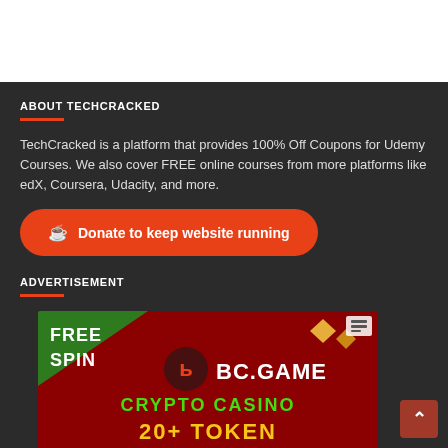ABOUT TECHCRACKED
TechCracked is a platform that provides 100% Off Coupons for Udemy Courses. We also cover FREE online courses from more platforms like edX, Coursera, Udacity, and more.
[Figure (other): Orange donate button with coffee cup icon and text: Donate to keep website running]
ADVERTISEMENT
[Figure (screenshot): BC.GAME Crypto Casino advertisement banner showing FREE SPIN text, BC.GAME logo, gems/coins imagery, and text reading CRYPTO CASINO 20+ TOKEN in green and yellow on dark red background]